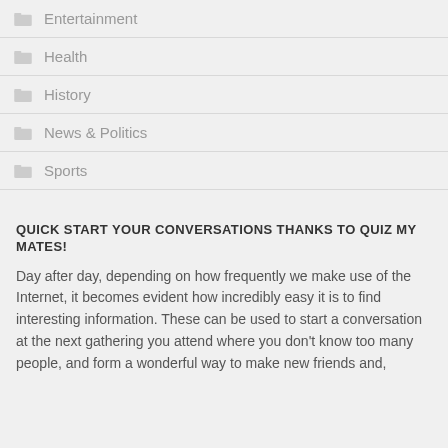Entertainment
Health
History
News & Politics
Sports
QUICK START YOUR CONVERSATIONS THANKS TO QUIZ MY MATES!
Day after day, depending on how frequently we make use of the Internet, it becomes evident how incredibly easy it is to find interesting information. These can be used to start a conversation at the next gathering you attend where you don't know too many people, and form a wonderful way to make new friends and,